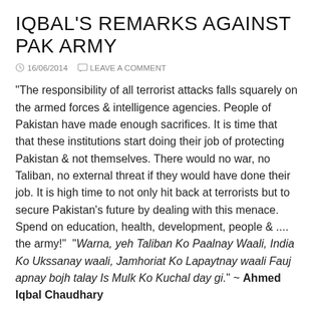IQBAL'S REMARKS AGAINST PAK ARMY
16/06/2014   LEAVE A COMMENT
“The responsibility of all terrorist attacks falls squarely on the armed forces & intelligence agencies. People of Pakistan have made enough sacrifices. It is time that that these institutions start doing their job of protecting Pakistan & not themselves. There would no war, no Taliban, no external threat if they would have done their job. It is high time to not only hit back at terrorists but to secure Pakistan’s future by dealing with this menace. Spend on education, health, development, people & .... the army!”  “Warna, yeh Taliban Ko Paalnay Waali, India Ko Ukssanay waali, Jamhoriat Ko Lapaytnay waali Fauj apnay bojh talay Is Mulk Ko Kuchal day gi.” ~ Ahmed Iqbal Chaudhary
Read more » http://pakobserver.net/detailnews.asp?